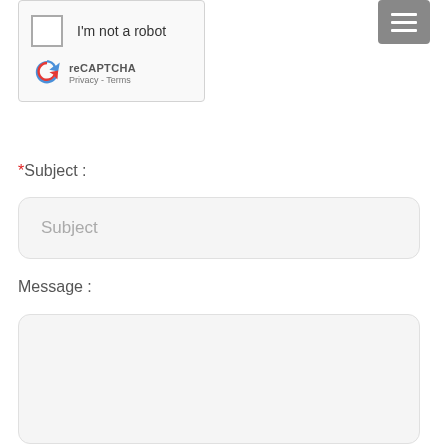[Figure (screenshot): reCAPTCHA widget with checkbox labeled 'I'm not a robot', reCAPTCHA logo, and Privacy/Terms links]
[Figure (screenshot): Hamburger menu button (three horizontal lines) in a gray rounded rectangle]
*Subject :
[Figure (screenshot): Text input field with placeholder text 'Subject']
Message :
[Figure (screenshot): Large text area input field for message content, empty]